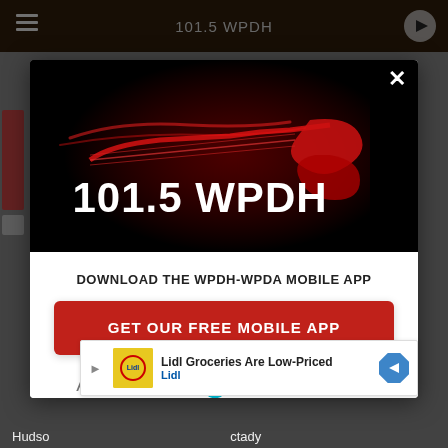[Figure (screenshot): Mobile app download modal popup for 101.5 WPDH radio station. Modal shows black header with WPDH guitar logo graphic and station name '101.5 WPDH', a close X button, white body with text 'DOWNLOAD THE WPDH-WPDA MOBILE APP', red CTA button 'GET OUR FREE MOBILE APP', and 'Also listen on: amazon alexa' line. Below the modal is a Lidl advertisement banner. Background shows the radio station website with dark top navigation bar showing '101.5 WPDH' and bottom page text 'Hudso... ...ctady'.]